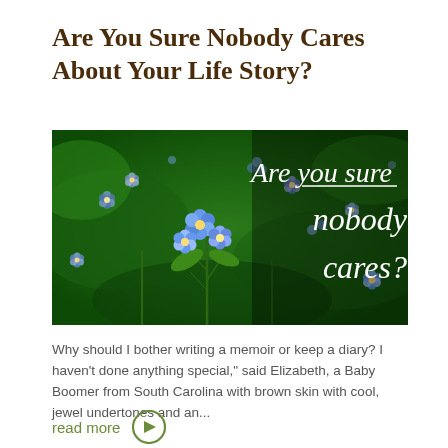Are You Sure Nobody Cares About Your Life Story?
[Figure (photo): Photo of blue forget-me-not flowers with green leaves background. White italic text overlay reads 'Are you sure nobody cares?']
Why should I bother writing a memoir or keep a diary? I haven't done anything special," said Elizabeth, a Baby Boomer from South Carolina with brown skin with cool, jewel undertones and an...
read more →